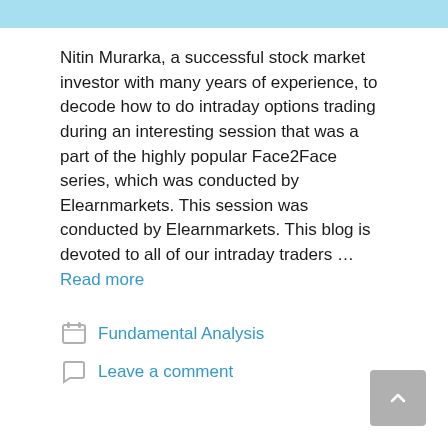[Figure (other): Light blue horizontal banner bar at the top of the page]
Nitin Murarka, a successful stock market investor with many years of experience, to decode how to do intraday options trading during an interesting session that was a part of the highly popular Face2Face series, which was conducted by Elearnmarkets. This session was conducted by Elearnmarkets. This blog is devoted to all of our intraday traders … Read more
Fundamental Analysis
Leave a comment